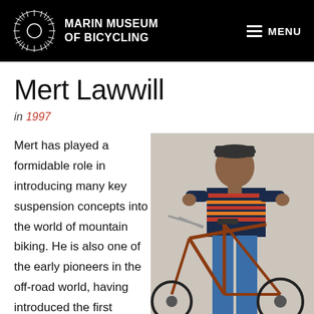MARIN MUSEUM OF BICYCLING
Mert Lawwill
in 1997
Mert has played a formidable role in introducing many key suspension concepts into the world of mountain biking. He is also one of the early pioneers in the off-road world, having introduced the first
[Figure (photo): Man in striped short-sleeve shirt and blue jeans standing with a mountain bike, smiling at camera against a light background]